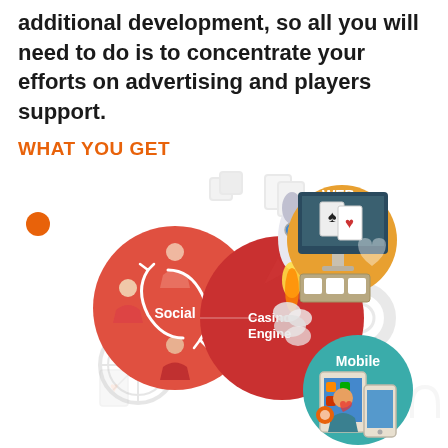additional development, so all you will need to do is to concentrate your efforts on advertising and players support.
WHAT YOU GET
[Figure (infographic): Infographic showing three components: Social (red circle with people icons and circular arrows), Casino Engine (red circle with rocket launching), and decorative icons for Web (monitor with cards and game elements in orange/teal), Mobile (teal circle with tablet and phone showing mobile interface). Background has grey gear icons, playing card symbols, poker chip, and a small orange dot. Circles are interconnected suggesting a platform ecosystem.]